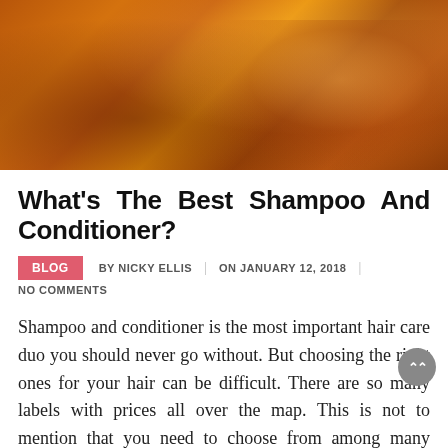[Figure (photo): Close-up photo of a woman with long red/auburn hair blowing in wind against a warm golden-orange background]
What's The Best Shampoo And Conditioner?
BLOG  BY NICKY ELLIS  |  ON JANUARY 12, 2018  |  NO COMMENTS
Shampoo and conditioner is the most important hair care duo you should never go without. But choosing the right ones for your hair can be difficult. There are so many labels with prices all over the map. This is not to mention that you need to choose from among many types of hair products formulated for different hair types.